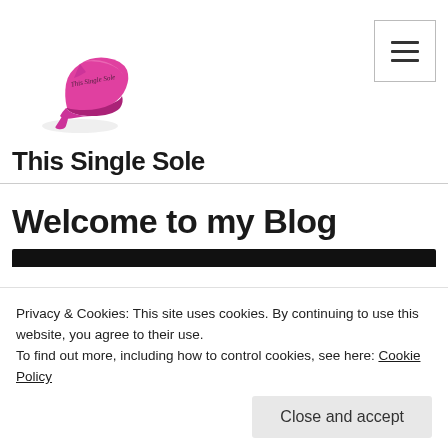[Figure (logo): This Single Sole blog logo with a pink high heel shoe and script text]
[Figure (other): Hamburger menu button (three horizontal lines) inside a rounded rectangle border]
This Single Sole
Welcome to my Blog
[Figure (photo): Dark background image with gold italic script text reading 'fight for your dreams']
Privacy & Cookies: This site uses cookies. By continuing to use this website, you agree to their use.
To find out more, including how to control cookies, see here: Cookie Policy
Close and accept